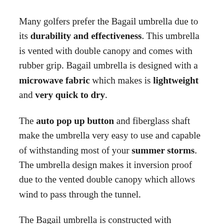Many golfers prefer the Bagail umbrella due to its durability and effectiveness. This umbrella is vented with double canopy and comes with rubber grip. Bagail umbrella is designed with a microwave fabric which makes is lightweight and very quick to dry.
The auto pop up button and fiberglass shaft make the umbrella very easy to use and capable of withstanding most of your summer storms. The umbrella design makes it inversion proof due to the vented double canopy which allows wind to pass through the tunnel.
The Bagail umbrella is constructed with stainless